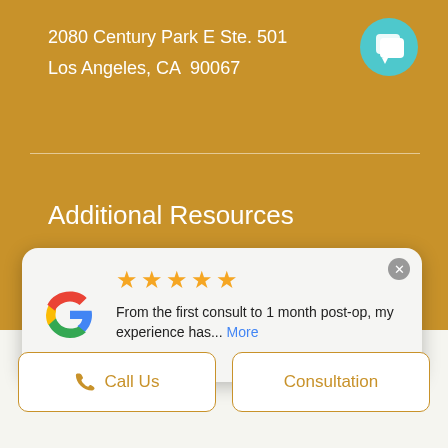2080 Century Park E Ste. 501
Los Angeles, CA  90067
[Figure (illustration): Teal circular chat/messaging icon button in top right corner]
Additional Resources
Privacy policy
[Figure (screenshot): Google review card with 5 stars, Google logo, review text 'From the first consult to 1 month post-op, my experience has... More' by Connie s.]
Call Us
Consultation